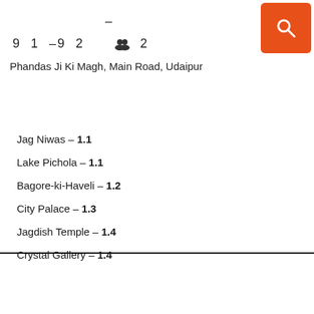–
9  1  –9  2      👥 2
Phandas Ji Ki Magh, Main Road, Udaipur
Jag Niwas – 1.1
Lake Pichola – 1.1
Bagore-ki-Haveli – 1.2
City Palace – 1.3
Jagdish Temple – 1.4
Crystal Gallery – 1.4